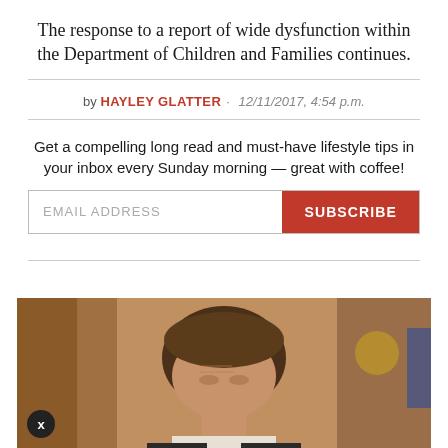The response to a report of wide dysfunction within the Department of Children and Families continues.
by HAYLEY GLATTER · 12/11/2017, 4:54 p.m.
Get a compelling long read and must-have lifestyle tips in your inbox every Sunday morning — great with coffee!
[Figure (photo): Partial photo of a man's head and upper body, blurred background with warm brown tones. Close-up portrait shot.]